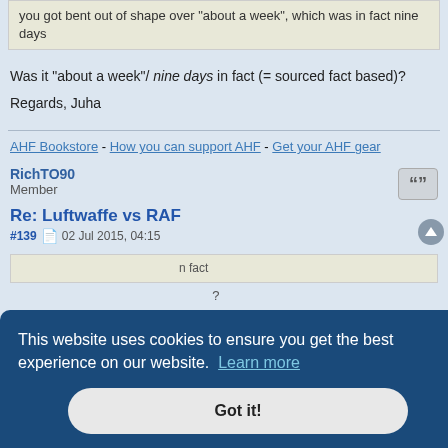you got bent out of shape over "about a week", which was in fact nine days
Was it "about a week"/ nine days in fact (= sourced fact based)?
Regards, Juha
AHF Bookstore - How you can support AHF - Get your AHF gear
RichTO90
Member
Re: Luftwaffe vs RAF
#139  02 Jul 2015, 04:15
This website uses cookies to ensure you get the best experience on our website. Learn more
Got it!
Regards, Juha